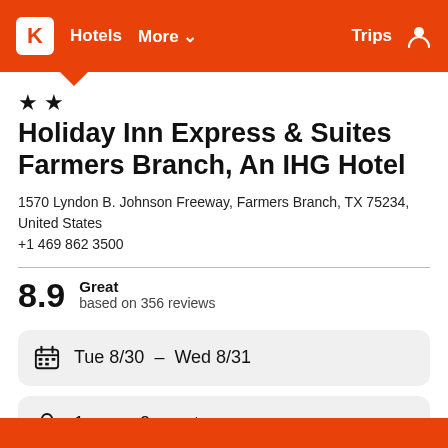K  Hotels  More  Trips
Holiday Inn Express & Suites Farmers Branch, An IHG Hotel
1570 Lyndon B. Johnson Freeway, Farmers Branch, TX 75234, United States
+1 469 862 3500
8.9  Great  based on 356 reviews
Tue 8/30  –  Wed 8/31
1 room, 2 guests